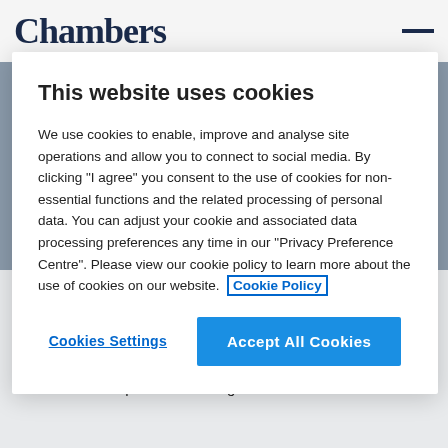Chambers
This website uses cookies
We use cookies to enable, improve and analyse site operations and allow you to connect to social media. By clicking "I agree" you consent to the use of cookies for non-essential functions and the related processing of personal data. You can adjust your cookie and associated data processing preferences any time in our "Privacy Preference Centre". Please view our cookie policy to learn more about the use of cookies on our website. Cookie Policy
Cookies Settings
Accept All Cookies
Alejandro Payá
Barcelona, Spain • Europe Guide 2022 • Ranked in 2 departments
Ranked in : Corporate/M&A: High-end